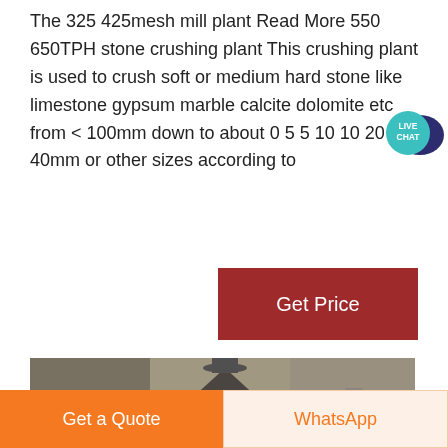The 325 425mesh mill plant Read More 550 650TPH stone crushing plant This crushing plant is used to crush soft or medium hard stone like limestone gypsum marble calcite dolomite etc from < 100mm down to about 0 5 5 10 10 20 20 40mm or other sizes according to
[Figure (illustration): Live Chat speech bubble badge — teal circle with white text LIVE CHAT and a dark speech bubble icon]
[Figure (photo): Industrial mill/grinding machine inside a factory building with large cylindrical equipment, pipes, and structural framework visible]
Get Price
Get a Quote
WhatsApp